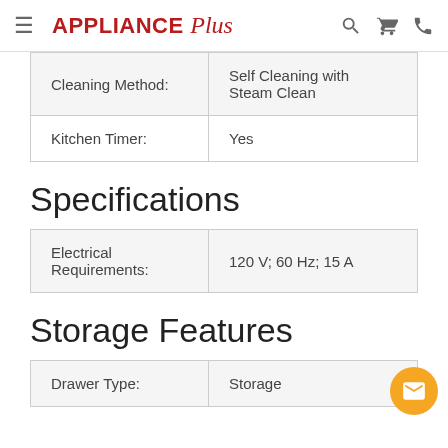APPLIANCE Plus — navigation header with search, cart, and phone icons
| Cleaning Method: | Self Cleaning with Steam Clean |
| --- | --- |
| Kitchen Timer: | Yes |
Specifications
| Electrical Requirements: | 120 V; 60 Hz; 15 A |
| --- | --- |
Storage Features
| Drawer Type: | Storage |
| --- | --- |